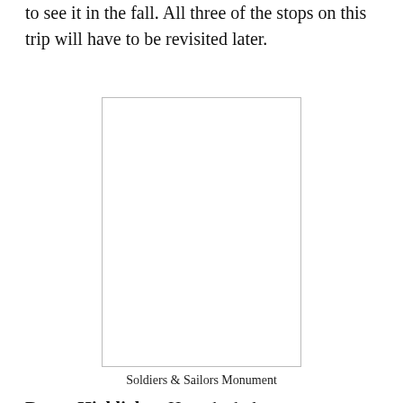to see it in the fall. All three of the stops on this trip will have to be revisited later.
[Figure (photo): A blank/white rectangular placeholder image representing the Soldiers & Sailors Monument photo]
Soldiers & Sailors Monument
Bonus Highlights: How the holo...